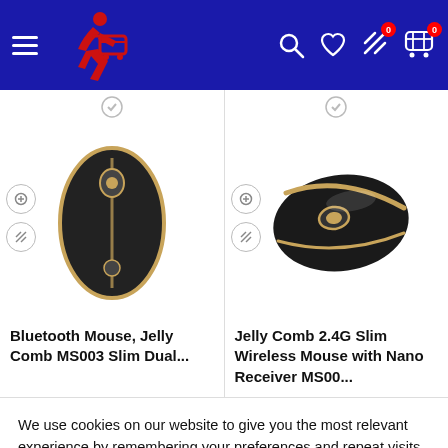[Figure (screenshot): E-commerce website header with blue navigation bar showing hamburger menu, running man with cart logo, search icon, heart/wishlist icon, compare icon with badge 0, and shopping cart icon with badge 0]
[Figure (photo): Bluetooth Mouse, Jelly Comb MS003 Slim Dual - black wireless mouse with gold trim, top-down view]
[Figure (photo): Jelly Comb 2.4G Slim Wireless Mouse with Nano Receiver MS00... - black wireless mouse with gold accent strip, angled side view]
Bluetooth Mouse, Jelly Comb MS003 Slim Dual...
Jelly Comb 2.4G Slim Wireless Mouse with Nano Receiver MS00...
We use cookies on our website to give you the most relevant experience by remembering your preferences and repeat visits. By clicking “Accept”, you consent to the use of ALL the cookies.
Cookie settings
ACCEPT